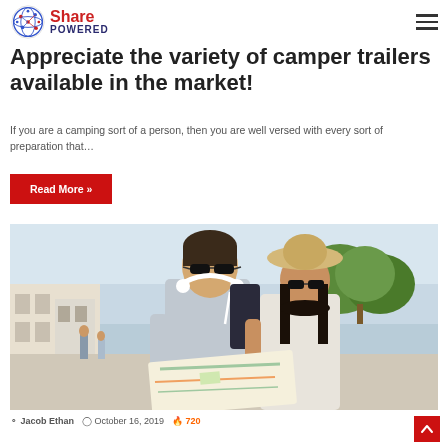Share Powered
Appreciate the variety of camper trailers available in the market!
If you are a camping sort of a person, then you are well versed with every sort of preparation that…
Read More »
[Figure (photo): A young couple looking at a map outdoors. The man wears sunglasses and has white headphones around his neck; the woman wears a straw hat and sunglasses. They are standing on a sunny plaza with buildings and trees in the background.]
Jacob Ethan  October 16, 2019  720